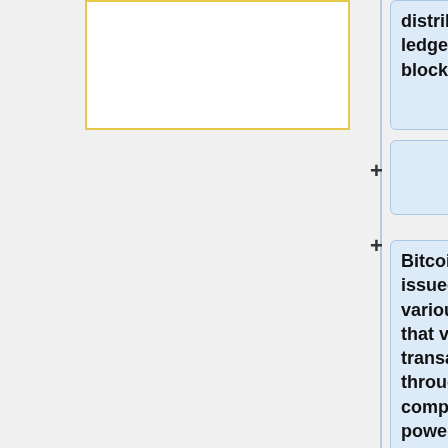[Figure (flowchart): A flowchart/diagram page showing Bitcoin bullet points in light-blue rounded boxes connected by plus signs. Partial view showing: a yellow-outlined white box on the left, and blue boxes on the right containing text about blockchain, Bitcoins being issued to nodes, and limited BTC 21 million supply.]
distributed ledger called a blockchain.
Bitcoins are issued to various nodes that verify transactions through computing power;
it is established that there will be a limited and scheduled release of no more than BTC 21 million worth of coins, which will be fully